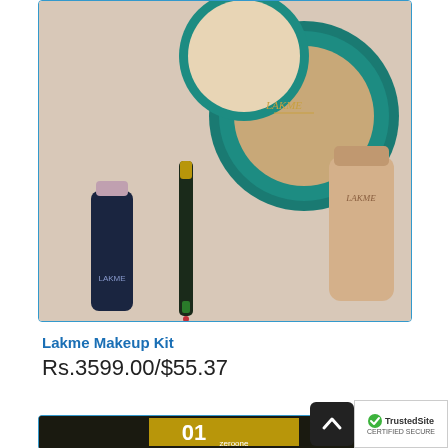[Figure (photo): Lakme makeup kit product photo showing compact powder, nail polish, eyeliner, and foundation bottles on a beige background]
Lakme Makeup Kit
Rs.3599.00/$55.37
[Figure (photo): Zeroone product box with gold and dark packaging showing '01 zeroone' text]
[Figure (other): TrustedSite badge with checkmark]